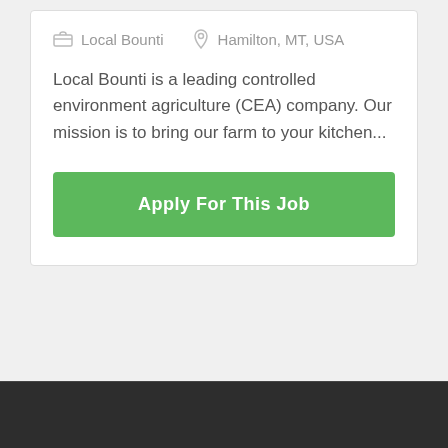Local Bounti    Hamilton, MT, USA
Local Bounti is a leading controlled environment agriculture (CEA) company. Our mission is to bring our farm to your kitchen...
Apply For This Job